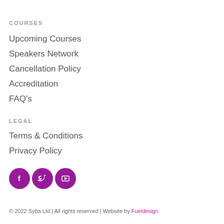COURSES
Upcoming Courses
Speakers Network
Cancellation Policy
Accreditation
FAQ's
LEGAL
Terms & Conditions
Privacy Policy
[Figure (other): Three purple circular social media icons: Facebook, Twitter, YouTube]
© 2022 Syba Ltd | All rights reserved | Website by Fueldesign